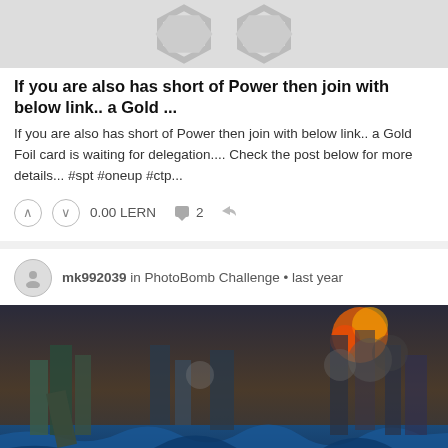[Figure (illustration): Gray placeholder hexagon shapes at top of first post card]
If you are also has short of Power then join with below link.. a Gold ...
If you are also has short of Power then join with below link.. a Gold Foil card is waiting for delegation.... Check the post below for more details... #spt #oneup #ctp...
0.00 LERN   2
mk992039 in PhotoBomb Challenge • last year
[Figure (photo): Dramatic apocalyptic photo composite: a person riding a jet ski on turbulent ocean water with a destroyed city skyline in the background, explosions and fire visible, skyscrapers collapsing, dark stormy sky]